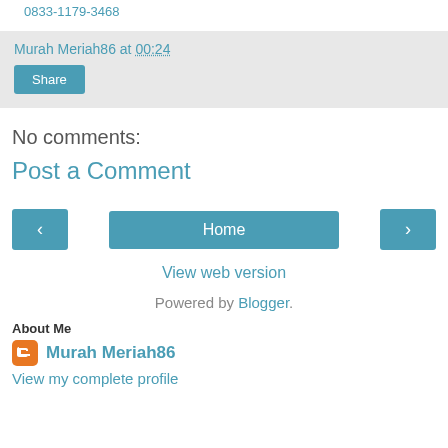0833-1179-3468
Murah Meriah86 at 00:24
Share
No comments:
Post a Comment
‹
Home
›
View web version
Powered by Blogger.
About Me
Murah Meriah86
View my complete profile